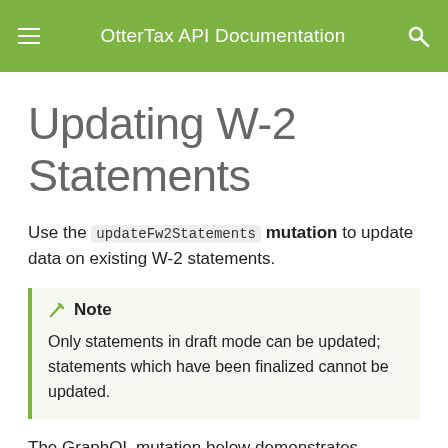OtterTax API Documentation
Updating W-2 Statements
Use the updateFw2Statements mutation to update data on existing W-2 statements.
Note
Only statements in draft mode can be updated; statements which have been finalized cannot be updated.
The GraphQL mutation below demonstrates updating various fields on the W-2. Full documentation for the query is available as part of the introspective GraphQL